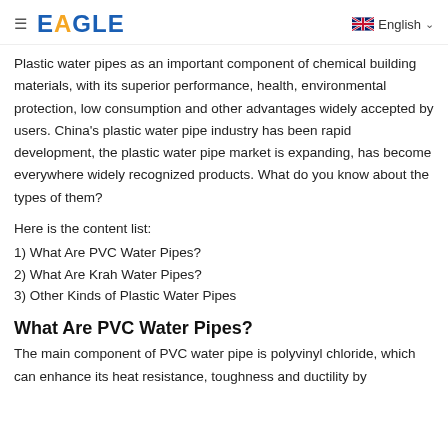≡ EAGLE   English ∨
Plastic water pipes as an important component of chemical building materials, with its superior performance, health, environmental protection, low consumption and other advantages widely accepted by users. China's plastic water pipe industry has been rapid development, the plastic water pipe market is expanding, has become everywhere widely recognized products. What do you know about the types of them?
Here is the content list:
1) What Are PVC Water Pipes?
2) What Are Krah Water Pipes?
3) Other Kinds of Plastic Water Pipes
What Are PVC Water Pipes?
The main component of PVC water pipe is polyvinyl chloride, which can enhance its heat resistance, toughness and ductility by